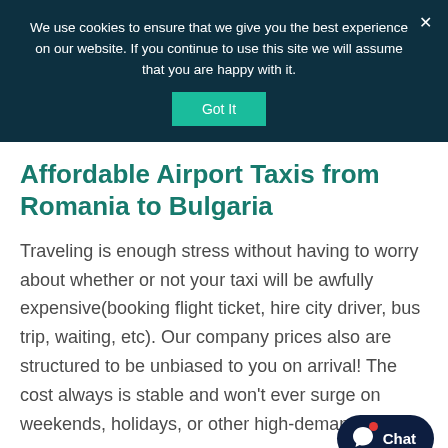We use cookies to ensure that we give you the best experience on our website. If you continue to use this site we will assume that you are happy with it.
Affordable Airport Taxis from Romania to Bulgaria
Traveling is enough stress without having to worry about whether or not your taxi will be awfully expensive(booking flight ticket, hire city driver, bus trip, waiting, etc). Our company prices also are structured to be unbiased to you on arrival! The cost always is stable and won't ever surge on weekends, holidays, or other high-demand times.